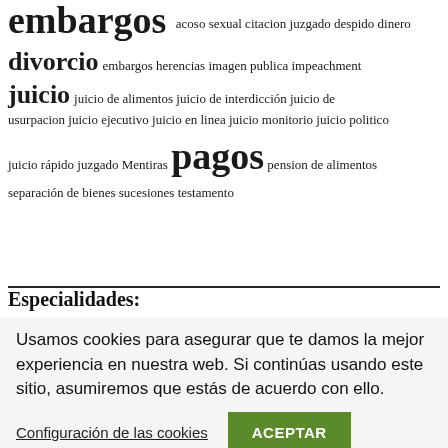embargos acoso sexual citacion juzgado despido dinero divorcio embargos herencias imagen publica impeachment juicio juicio de alimentos juicio de interdicción juicio de usurpacion juicio ejecutivo juicio en linea juicio monitorio juicio politico juicio rápido juzgado Mentiras pagos pension de alimentos separación de bienes sucesiones testamento
Especialidades:
Usamos cookies para asegurar que te damos la mejor experiencia en nuestra web. Si continúas usando este sitio, asumiremos que estás de acuerdo con ello.
Configuración de las cookies
ACEPTAR